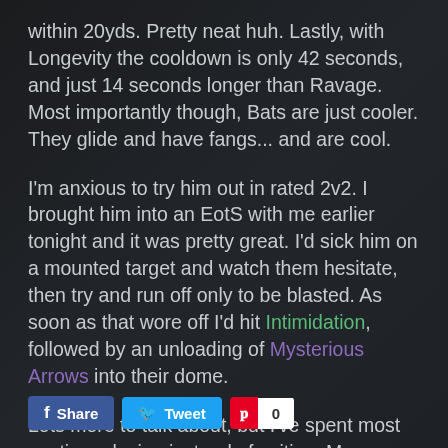within 20yds. Pretty neat huh. Lastly, with Longevity the cooldown is only 42 seconds, and just 14 seconds longer than Ravage. Most importantly though, Bats are just cooler. They glide and have fangs... and are cool.
I'm anxious to try him out in rated 2v2. I brought him into an EotS with me earlier tonight and it was pretty great. I'd sick him on a mounted target and watch them hesitate, then try and run off only to be blasted. As soon as that wore off I'd hit Intimidation, followed by an unloading of Mysterious Arrows into their dome.
Lots more to talk about, but I've spent most my time playing instead of writing. More findings and stories tomorrow perhaps.
Share | Tweet | 0